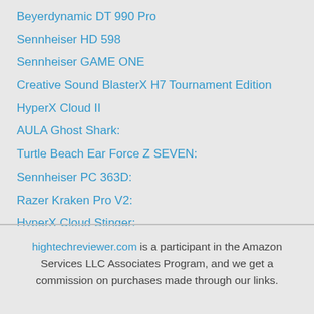Beyerdynamic DT 990 Pro
Sennheiser HD 598
Sennheiser GAME ONE
Creative Sound BlasterX H7 Tournament Edition
HyperX Cloud II
AULA Ghost Shark:
Turtle Beach Ear Force Z SEVEN:
Sennheiser PC 363D:
Razer Kraken Pro V2:
HyperX Cloud Stinger:
hightechreviewer.com is a participant in the Amazon Services LLC Associates Program, and we get a commission on purchases made through our links.